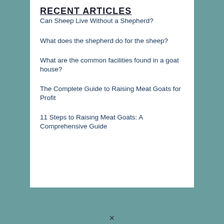RECENT ARTICLES
Can Sheep Live Without a Shepherd?
What does the shepherd do for the sheep?
What are the common facilities found in a goat house?
The Complete Guide to Raising Meat Goats for Profit
11 Steps to Raising Meat Goats: A Comprehensive Guide